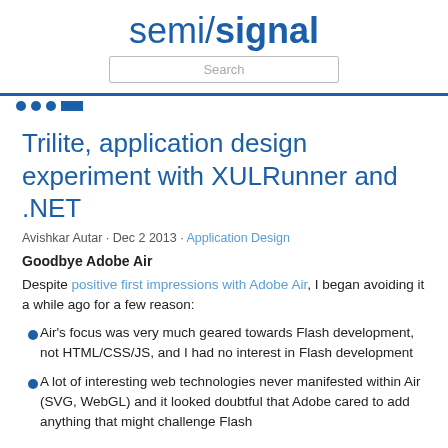semi/signal
Trilite, application design experiment with XULRunner and .NET
Avishkar Autar · Dec 2 2013 · Application Design
Goodbye Adobe Air
Despite positive first impressions with Adobe Air, I began avoiding it a while ago for a few reason:
Air's focus was very much geared towards Flash development, not HTML/CSS/JS, and I had no interest in Flash development
A lot of interesting web technologies never manifested within Air (SVG, WebGL) and it looked doubtful that Adobe cared to add anything that might challenge Flash